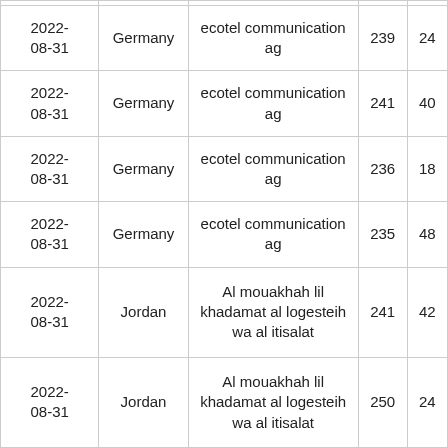| 2022-08-31 | Germany | ecotel communication ag | 239 | 24 |
| 2022-08-31 | Germany | ecotel communication ag | 241 | 40 |
| 2022-08-31 | Germany | ecotel communication ag | 236 | 18 |
| 2022-08-31 | Germany | ecotel communication ag | 235 | 48 |
| 2022-08-31 | Jordan | Al mouakhah lil khadamat al logesteih wa al itisalat | 241 | 42 |
| 2022-08-31 | Jordan | Al mouakhah lil khadamat al logesteih wa al itisalat | 250 | 24 |